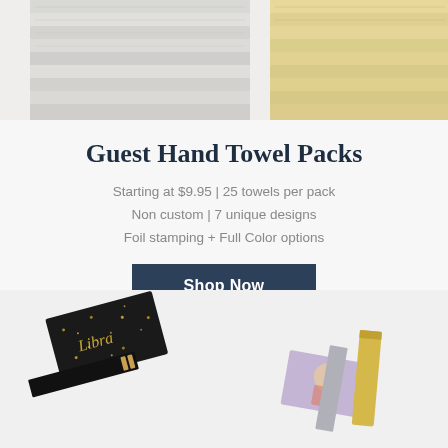[Figure (photo): Top portion of stacked guest hand towels in white/cream and yellow/gold colors on a light background, partially cropped]
Guest Hand Towel Packs
Starting at $9.95 | 25 towels per pack
Non custom | 7 unique designs
Foil stamping + Full Color options
Shop Now
[Figure (photo): Decorative matchboxes including a black glittery one labeled 'Libra' and others with illustrated designs, scattered on a light background]